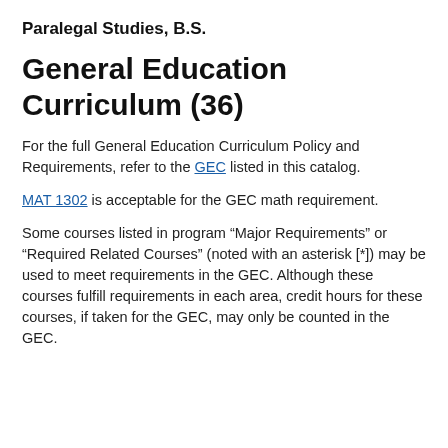Paralegal Studies, B.S.
General Education Curriculum (36)
For the full General Education Curriculum Policy and Requirements, refer to the GEC listed in this catalog.
MAT 1302 is acceptable for the GEC math requirement.
Some courses listed in program “Major Requirements” or “Required Related Courses” (noted with an asterisk [*]) may be used to meet requirements in the GEC. Although these courses fulfill requirements in each area, credit hours for these courses, if taken for the GEC, may only be counted in the GEC.